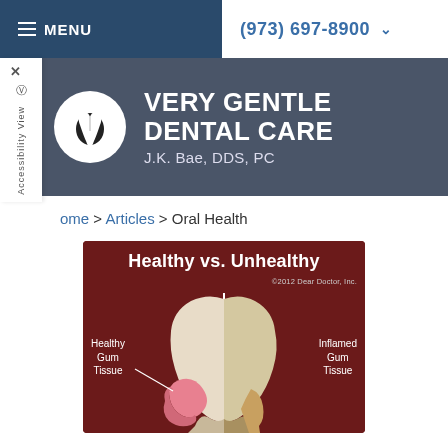MENU | (973) 697-8900
VERY GENTLE DENTAL CARE
J.K. Bae, DDS, PC
ome > Articles > Oral Health
[Figure (illustration): Medical dental illustration titled 'Healthy vs. Unhealthy' showing a cross-section of a tooth split down the middle. Left side labeled 'Healthy Gum Tissue' with pink healthy gum. Right side labeled 'Inflamed Gum Tissue' with reddened inflamed gum. Copyright 2012 Dear Doctor, Inc.]